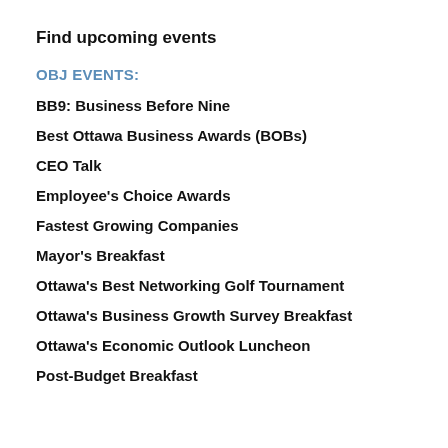Find upcoming events
OBJ EVENTS:
BB9: Business Before Nine
Best Ottawa Business Awards (BOBs)
CEO Talk
Employee's Choice Awards
Fastest Growing Companies
Mayor's Breakfast
Ottawa's Best Networking Golf Tournament
Ottawa's Business Growth Survey Breakfast
Ottawa's Economic Outlook Luncheon
Post-Budget Breakfast